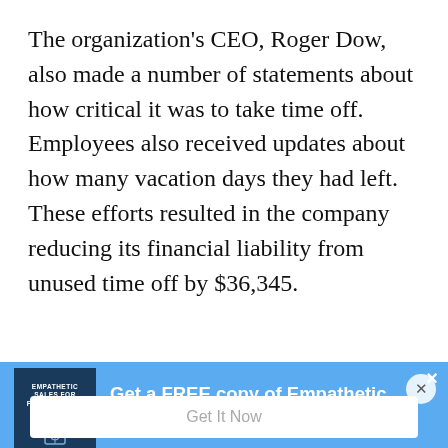The organization's CEO, Roger Dow, also made a number of statements about how critical it was to take time off. Employees also received updates about how many vacation days they had left. These efforts resulted in the company reducing its financial liability from unused time off by $36,345.
Clearly communicating vacation policies is
[Figure (other): Popup advertisement banner with blue background showing book cover for 'Empathetic Sales for Freelancers' ebook and CTA text 'Get a FREE copy of Empathetic Sales for Freelancers ebook' with a close button (×) and a 'Get It Now' input/button bar at the bottom.]